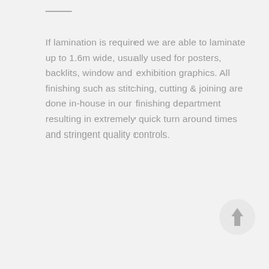If lamination is required we are able to laminate up to 1.6m wide, usually used for posters, backlits, window and exhibition graphics. All finishing such as stitching, cutting & joining are done in-house in our finishing department resulting in extremely quick turn around times and stringent quality controls.
[Figure (illustration): A circular button with an upward-pointing arrow icon, styled in light grey, positioned at the bottom right of the page — a scroll-to-top button.]